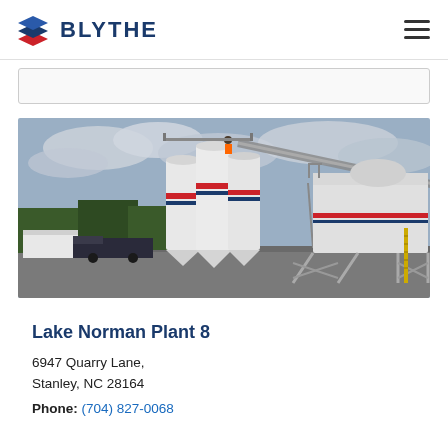BLYTHE
[Figure (photo): Industrial concrete/asphalt plant with large white cylindrical silos with red and blue bands, a conveyor belt extending diagonally, and a large white processing structure on the right. An overcast sky and trees in the background. A truck and small white building are visible.]
Lake Norman Plant 8
6947 Quarry Lane, Stanley, NC 28164
Phone: (704) 827-0068